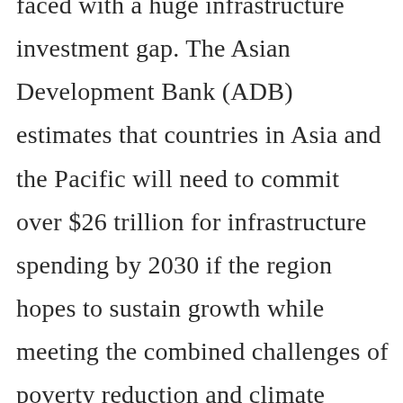faced with a huge infrastructure investment gap. The Asian Development Bank (ADB) estimates that countries in Asia and the Pacific will need to commit over $26 trillion for infrastructure spending by 2030 if the region hopes to sustain growth while meeting the combined challenges of poverty reduction and climate change. [1] However, the principal brake on